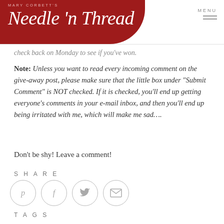Mary Corbett's Needle 'n Thread
check back on Monday to see if you've won.
Note: Unless you want to read every incoming comment on the give-away post, please make sure that the little box under "Submit Comment" is NOT checked. If it is checked, you'll end up getting everyone's comments in your e-mail inbox, and then you'll end up being irritated with me, which will make me sad….
Don't be shy! Leave a comment!
SHARE
[Figure (infographic): Four circular social share icons: Pinterest (P), Facebook (f), Twitter (bird), Email (envelope)]
TAGS